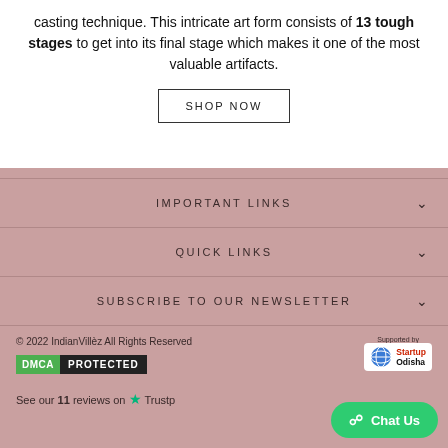casting technique. This intricate art form consists of 13 tough stages to get into its final stage which makes it one of the most valuable artifacts.
SHOP NOW
IMPORTANT LINKS
QUICK LINKS
SUBSCRIBE TO OUR NEWSLETTER
© 2022 IndianVillèz All Rights Reserved
[Figure (logo): DMCA PROTECTED badge with green DMCA label and black PROTECTED label]
[Figure (logo): Startup Odisha supported by badge with globe icon]
See our 11 reviews on ★ Trustp...
Chat Us